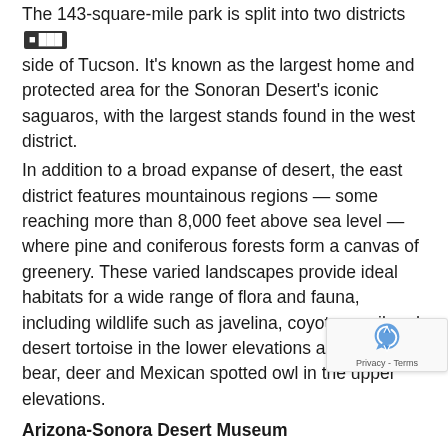The 143-square-mile park is split into two districts on either side of Tucson. It's known as the largest home and protected area for the Sonoran Desert's iconic saguaros, with the largest stands found in the west district.
In addition to a broad expanse of desert, the east district features mountainous regions — some reaching more than 8,000 feet above sea level — where pine and coniferous forests form a canvas of greenery. These varied landscapes provide ideal habitats for a wide range of flora and fauna, including wildlife such as javelina, coyote, quail and desert tortoise in the lower elevations and black bear, deer and Mexican spotted owl in the upper elevations.
Arizona-Sonora Desert Museum
2021 N. Kinney Road
520.883.1380
www.desertmuseum.org
This place will turn your idea of a museum inside out. will enjoy a quintessential Sonoran Desert experience that